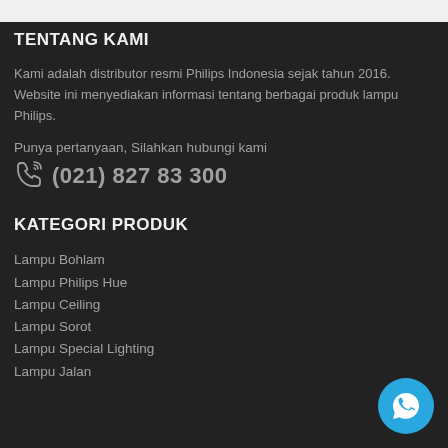TENTANG KAMI
Kami adalah distributor resmi Philips Indonesia sejak tahun 2016. Website ini menyediakan informasi tentang berbagai produk lampu Philips.
Punya pertanyaan, Silahkan hubungi kami
(021) 827 83 300
KATEGORI PRODUK
Lampu Bohlam
Lampu Philips Hue
Lampu Ceiling
Lampu Sorot
Lampu Special Lighting
Lampu Jalan
[Figure (illustration): WhatsApp contact button (blue circle with WhatsApp icon)]